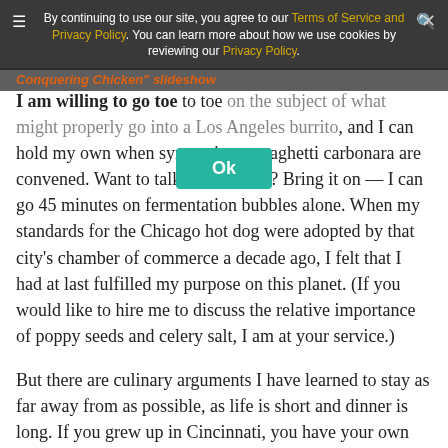By continuing to use our site, you agree to our Terms of Service and Privacy Policy. You can learn more about how we use cookies by reviewing our Privacy Policy.
Conquering Chicken" slideshow
I am willing to go toe to toe on the subject of what might properly go into a Los Angeles burrito, and I can hold my own when symposia on spaghetti carbonara are convened. Want to talk about bread? Bring it on — I can go 45 minutes on fermentation bubbles alone. When my standards for the Chicago hot dog were adopted by that city's chamber of commerce a decade ago, I felt that I had at last fulfilled my purpose on this planet. (If you would like to hire me to discuss the relative importance of poppy seeds and celery salt, I am at your service.)
But there are culinary arguments I have learned to stay as far away from as possible, as life is short and dinner is long. If you grew up in Cincinnati, you have your own opinions on the allowable garnishes for what passes for chili in your hometown, and you may parse the differences between a four-way and a five-way without interference from me. There are Talmudic scholars who would find it difficult to follow the average discussion about the New England lobster roll, the mayonnaise,